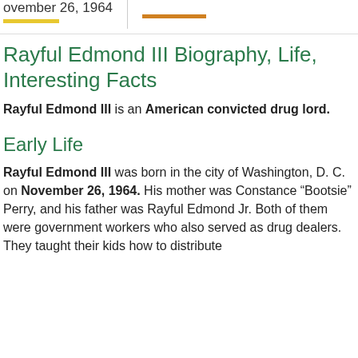November 26, 1964
Rayful Edmond III Biography, Life, Interesting Facts
Rayful Edmond III is an American convicted drug lord.
Early Life
Rayful Edmond III was born in the city of Washington, D. C. on November 26, 1964. His mother was Constance “Bootsie” Perry, and his father was Rayful Edmond Jr. Both of them were government workers who also served as drug dealers. They taught their kids how to distribute